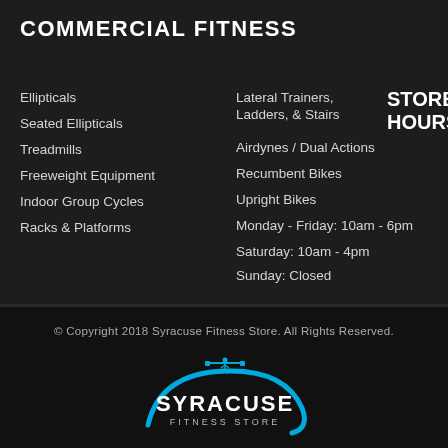COMMERCIAL FITNESS
Ellipticals
Seated Ellipticals
Treadmills
Freeweight Equipment
Indoor Group Cycles
Racks & Platforms
Lateral Trainers, Ladders, & Stairs
Airdynes / Dual Actions
Recumbent Bikes
Upright Bikes
Monday - Friday: 10am - 6pm
Saturday: 10am - 4pm
Sunday: Closed
STORE HOURS
© Copyright 2018 Syracuse Fitness Store. All Rights Reserved.
[Figure (logo): Syracuse Fitness Store logo with blue swoosh arc and barbell icon above the text SYRACUSE FITNESS STORE]